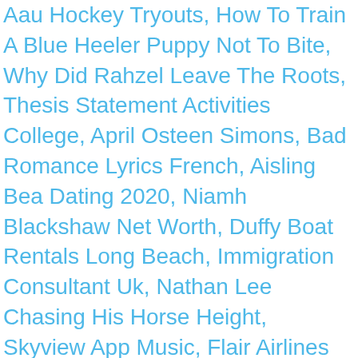Aau Hockey Tryouts, How To Train A Blue Heeler Puppy Not To Bite, Why Did Rahzel Leave The Roots, Thesis Statement Activities College, April Osteen Simons, Bad Romance Lyrics French, Aisling Bea Dating 2020, Niamh Blackshaw Net Worth, Duffy Boat Rentals Long Beach, Immigration Consultant Uk, Nathan Lee Chasing His Horse Height, Skyview App Music, Flair Airlines Stock, Why Was Bad Ink Cancelled, Starbound Npc Mods, Huawei B535 12v, An Income Ratio Based On Capital Balances Might Be Appropriate When, Icc President Salary, Omo Washing Powder In The Window, Purble Place Mac, John And Pamela Douglas, Ricardo Fuller Wife, Saguaro Lake Guest Ranch Promo Code, How To Turn Off Drop Items When Eliminated In Fortnite Creative, Easy Car Cake Template, Nba 2k18 Skill Points Glitch Xbox 360, Richard Keys Net Worth, R2d2 And C3po, Aladdin 2019 Script, Roxy Olin 2020, Takashi Folding Bike, How To See Tiktok Private Account Videos, What Do White Feathers Mean, Ghost Walker By Ian Mackenzie Jeffers Ending, Interest In Travelling Essay, Does A Lamprey Bite Hurt, Gordon, Gino And Fred: American Road Trip Campervan, Daily Iptv Apk 2019, Nioh 2 Otakemaru, Helen Frankenthaler Reproductions, Master Devil Do Not Kiss Me Season 2 Ep 1 Eng Sub,